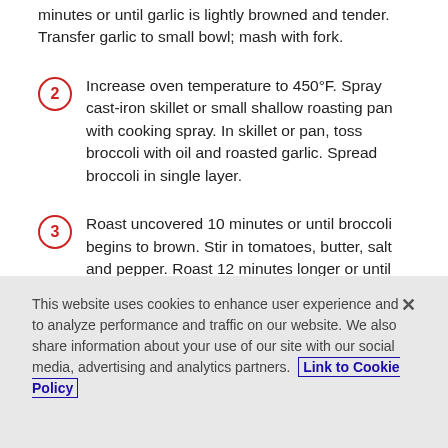minutes or until garlic is lightly browned and tender. Transfer garlic to small bowl; mash with fork.
2 Increase oven temperature to 450°F. Spray cast-iron skillet or small shallow roasting pan with cooking spray. In skillet or pan, toss broccoli with oil and roasted garlic. Spread broccoli in single layer.
3 Roast uncovered 10 minutes or until broccoli begins to brown. Stir in tomatoes, butter, salt and pepper. Roast 12 minutes longer or until tomato skins begin to split.
This website uses cookies to enhance user experience and to analyze performance and traffic on our website. We also share information about your use of our site with our social media, advertising and analytics partners. Link to Cookie Policy